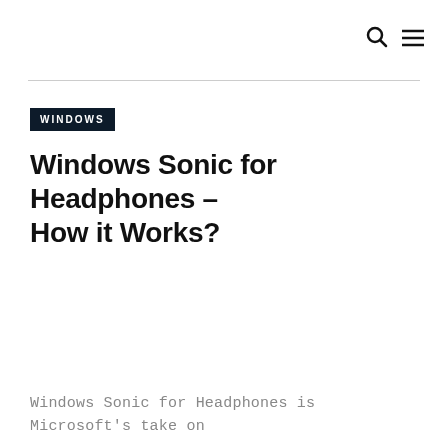🔍 ☰
WINDOWS
Windows Sonic for Headphones – How it Works?
Windows Sonic for Headphones is Microsoft's take on